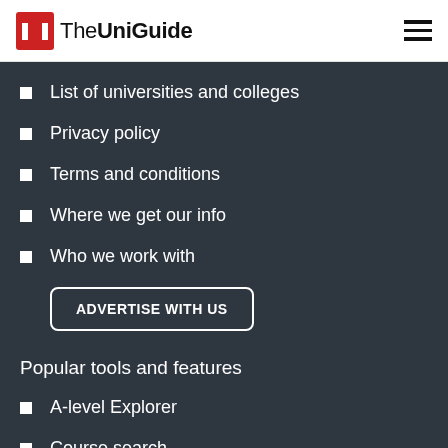TheUniGuide
List of universities and colleges
Privacy policy
Terms and conditions
Where we get our info
Who we work with
ADVERTISE WITH US
Popular tools and features
A-level Explorer
Course search
Who we work with